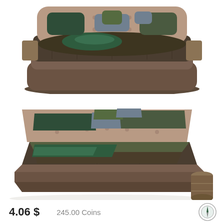[Figure (photo): Front view of a modern upholstered double bed with dark olive/brown bedding, teal and olive pillows, and wooden nightstands on each side. The headboard is tufted and light brown/taupe colored.]
[Figure (photo): Perspective/angled view of the same modern upholstered double bed with dark olive/brown bedding, teal and olive pillows, and a cylindrical wooden nightstand on the right side.]
4.06 $   245.00 Coins